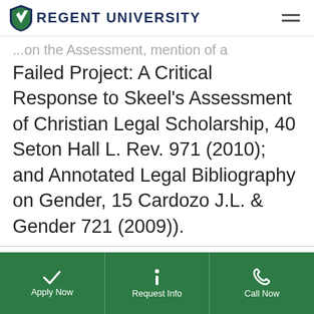Regent University
...on the Assessment, mention of a Failed Project: A Critical Response to Skeel's Assessment of Christian Legal Scholarship, 40 Seton Hall L. Rev. 971 (2010); and Annotated Legal Bibliography on Gender, 15 Cardozo J.L. & Gender 721 (2009)).
We may use cookies and technologies to record sessions and collect data to improve user's experience. You understand and agree to our Privacy Policy.
Apply Now | Request Info | Call Now